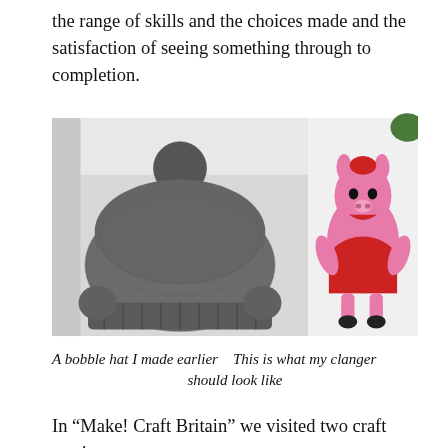the range of skills and the choices made and the satisfaction of seeing something through to completion.
[Figure (photo): Two photos side by side: left photo shows a grey knitted bobble hat from behind; right photo shows a pink knitted Clanger toy figure wearing a red outfit.]
A bobble hat I made earlier    This is what my clanger should look like
In “Make! Craft Britain” we visited two craft sessions